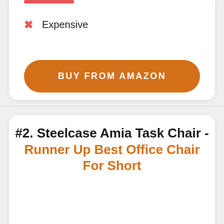× Expensive
BUY FROM AMAZON
#2. Steelcase Amia Task Chair - Runner Up Best Office Chair For Short